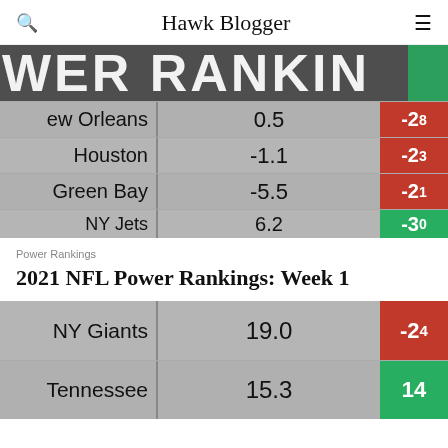Hawk Blogger
[Figure (screenshot): Cropped power rankings table image showing teams: New Orleans (0.5, -28), Houston (-1.1, -23), Green Bay (-5.5, -21), NY Jets (6.2, -30). Header text reads POWER RANKING partially visible. Red and green cells on right column.]
Power Rankings
2021 NFL Power Rankings: Week 1
[Figure (screenshot): Cropped power rankings table image showing teams: NY Giants (19.0, -24), Tennessee (15.3, 14). Red and green cells on right column.]